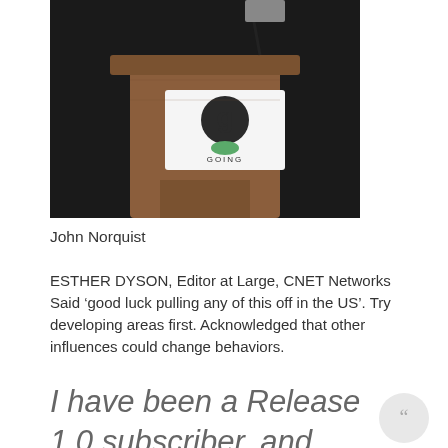[Figure (photo): Photo of a wooden podium/lectern with a logo showing a stylized 'g' shape and text 'GOING' on it, against a dark background with some equipment visible above.]
John Norquist
ESTHER DYSON, Editor at Large, CNET Networks Said ‘good luck pulling any of this off in the US’. Try developing areas first. Acknowledged that other influences could change behaviors.
I have been a Release 1.0 subscriber, and really appreciate and respect